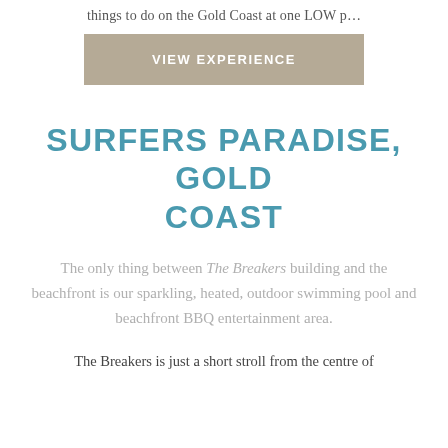things to do on the Gold Coast at one LOW p…
VIEW EXPERIENCE
SURFERS PARADISE, GOLD COAST
The only thing between The Breakers building and the beachfront is our sparkling, heated, outdoor swimming pool and beachfront BBQ entertainment area.
The Breakers is just a short stroll from the centre of